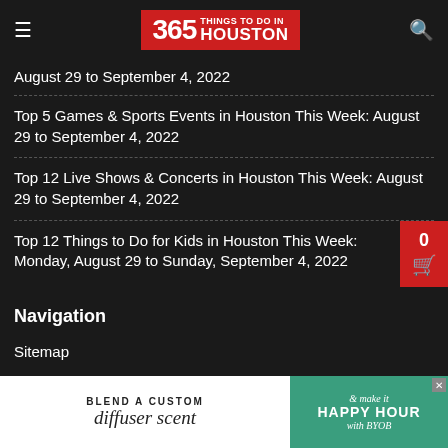365 Things To Do In Houston
August 29 to September 4, 2022
Top 5 Games & Sports Events in Houston This Week: August 29 to September 4, 2022
Top 12 Live Shows & Concerts in Houston This Week: August 29 to September 4, 2022
Top 12 Things to Do for Kids in Houston This Week: Monday, August 29 to Sunday, September 4, 2022
Navigation
Sitemap
[Figure (photo): Advertisement banner: 'Blend a custom diffuser scent' and '& make it Happy Hour with BYOB']